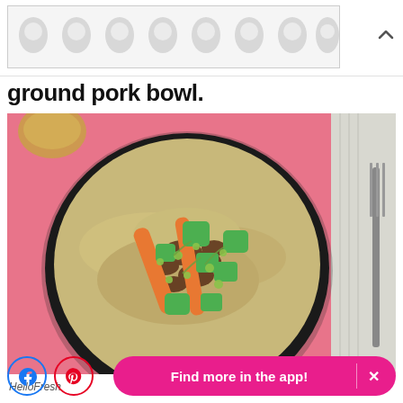[Figure (other): Advertisement banner with grey polka dot / teardrop pattern on white background]
ground pork bowl.
[Figure (photo): Overhead photo of a ground pork bowl served in a dark round plate on a pink background. The bowl contains grains/quinoa topped with carrots, green bell peppers, scallions, and ground pork. A fork and grey napkin are visible at the right edge. A glass of liquid is at the top left.]
HelloFresh
Find more in the app!